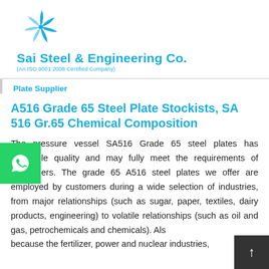Sai Steel & Engineering Co. (An ISO 9001:2008 Certified Company)
Plate Supplier
A516 Grade 65 Steel Plate Stockists, SA 516 Gr.65 Chemical Composition
The pressure vessel SA516 Grade 65 steel plates has incredible quality and may fully meet the requirements of consumers. The grade 65 A516 steel plates we offer are employed by customers during a wide selection of industries, from major relationships (such as sugar, paper, textiles, dairy products, engineering) to volatile relationships (such as oil and gas, petrochemicals and chemicals). Also because the fertilizer, power and nuclear industries,